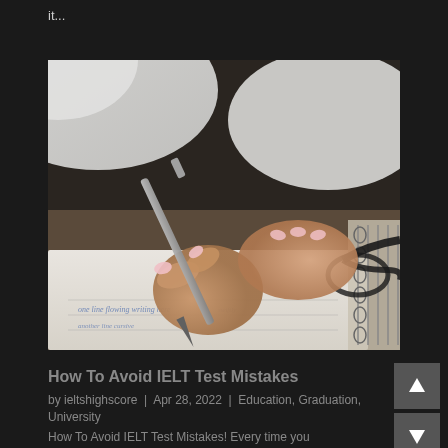it...
[Figure (photo): Close-up photo of a person with pink nails writing with a pen on a spiral notebook, with glasses visible in the background.]
How To Avoid IELT Test Mistakes
by ieltshighscore | Apr 28, 2022 | Education, Graduation, University
How To Avoid IELT Test Mistakes! Every time you